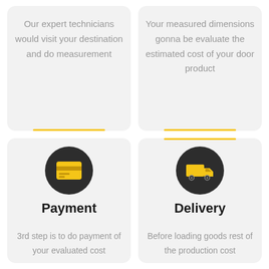Our expert technicians would visit your destination and do measurement
Your measured dimensions gonna be evaluate the estimated cost of your door product
[Figure (illustration): Credit card icon in dark circle above Payment label]
Payment
3rd step is to do payment of your evaluated cost
[Figure (illustration): Delivery truck icon in dark circle above Delivery label]
Delivery
Before loading goods rest of the production cost